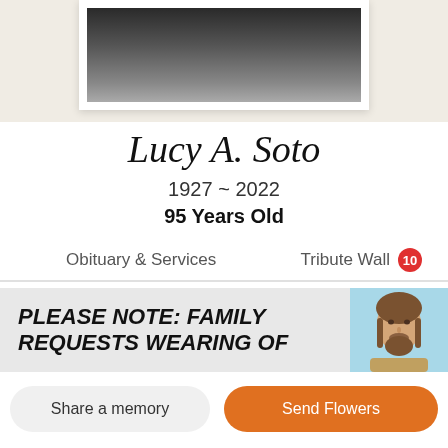[Figure (photo): Partial view of a framed portrait photo of Lucy A. Soto, cropped at top]
Lucy A. Soto
1927 ~ 2022
95 Years Old
Obituary & Services    Tribute Wall 10
PLEASE NOTE: FAMILY REQUESTS WEARING OF
[Figure (illustration): Small illustration of Jesus Christ with blue background]
Share a memory
Send Flowers
Plant a Tree